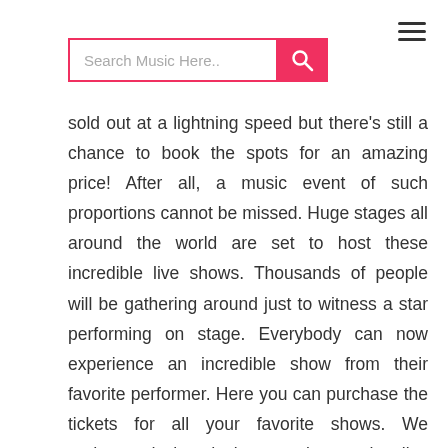Search Music Here.. [search bar with pink button] [hamburger menu]
sold out at a lightning speed but there's still a chance to book the spots for an amazing price! After all, a music event of such proportions cannot be missed. Huge stages all around the world are set to host these incredible live shows. Thousands of people will be gathering around just to witness a star performing on stage. Everybody can now experience an incredible show from their favorite performer. Here you can purchase the tickets for all your favorite shows. We understand the desire to witness the live performance of a well-known band. We are making sure to keep our tickets within the affordable price range while providing you with updated information on everything that's